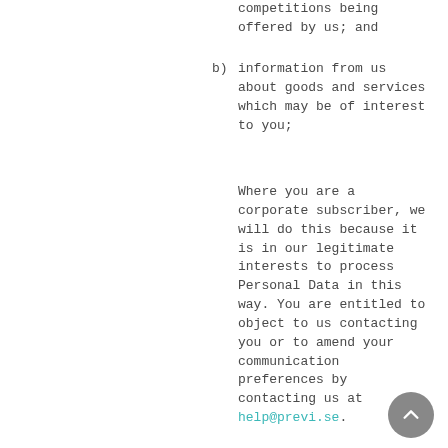competitions being offered by us; and
b)    information from us about goods and services which may be of interest to you;
Where you are a corporate subscriber, we will do this because it is in our legitimate interests to process Personal Data in this way. You are entitled to object to us contacting you or to amend your communication preferences by contacting us at help@previ.se.